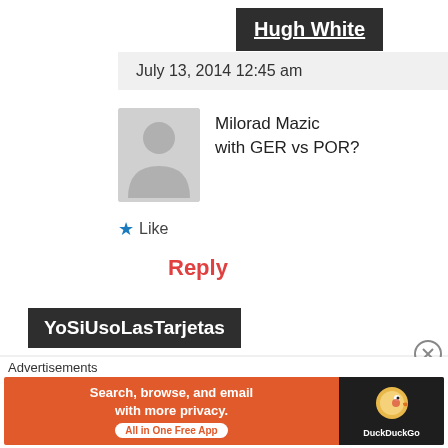Hugh White
July 13, 2014 12:45 am
[Figure (illustration): Default user avatar silhouette in gray]
Milorad Mazic with GER vs POR?
★ Like
Reply
YoSiUsoLasTarjetas
July 30, 2014 7:03 pm
Advertisements
[Figure (infographic): DuckDuckGo advertisement banner: Search, browse, and email with more privacy. All in One Free App. DuckDuckGo logo.]